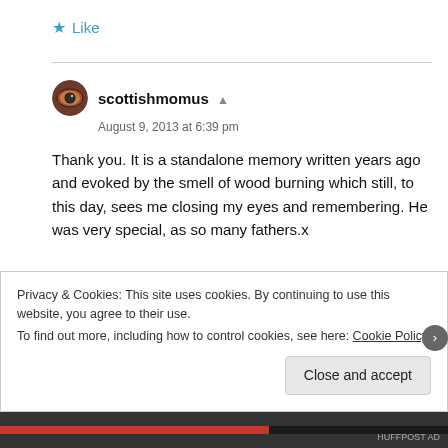★ Like
scottishmomus
August 9, 2013 at 6:39 pm
Thank you. It is a standalone memory written years ago and evoked by the smell of wood burning which still, to this day, sees me closing my eyes and remembering. He was very special, as so many fathers.x
Privacy & Cookies: This site uses cookies. By continuing to use this website, you agree to their use.
To find out more, including how to control cookies, see here: Cookie Policy
Close and accept